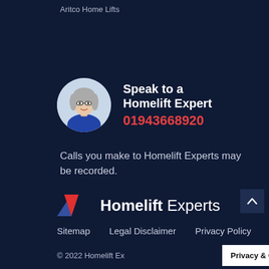Aritco Home Lifts
Speak to a Homelift Expert
01943668920
Calls you make to Homelift Experts may be recorded.
[Figure (logo): Homelift Experts logo with two triangles (blue and red) and the text 'Homelift Experts']
Sitemap    Legal Disclaimer    Privacy Policy
© 2022 Homelift Ex
Privacy & Cookies Policy